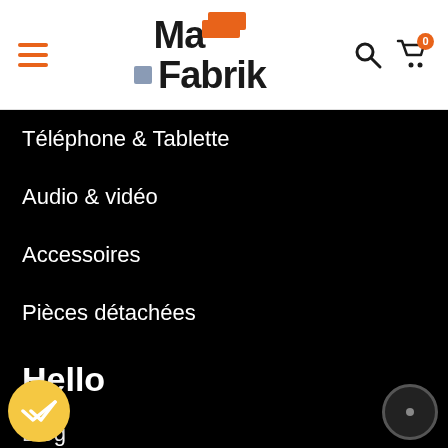[Figure (logo): MaFabrik logo with orange rectangle accent and blue-grey square, hamburger menu icon, search icon and cart icon with 0 badge]
Téléphone & Tablette
Audio & vidéo
Accessoires
Pièces détachées
Hello
Blog
Foire aux questions
Qui sommes nous ?
…act